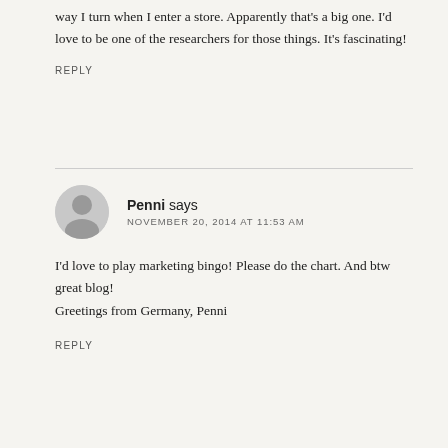way I turn when I enter a store. Apparently that's a big one. I'd love to be one of the researchers for those things. It's fascinating!
REPLY
Penni says
NOVEMBER 20, 2014 AT 11:53 AM
I'd love to play marketing bingo! Please do the chart. And btw great blog!
Greetings from Germany, Penni
REPLY